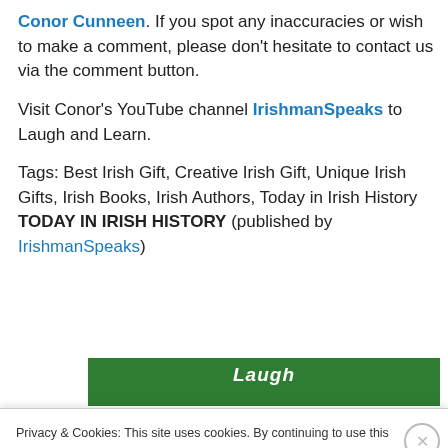Conor Cunneen. If you spot any inaccuracies or wish to make a comment, please don't hesitate to contact us via the comment button.
Visit Conor's YouTube channel IrishmanSpeaks to Laugh and Learn.
Tags: Best Irish Gift, Creative Irish Gift, Unique Irish Gifts, Irish Books, Irish Authors, Today in Irish History TODAY IN IRISH HISTORY (published by IrishmanSpeaks)
[Figure (illustration): Green banner/button with white italic text partially visible]
Privacy & Cookies: This site uses cookies. By continuing to use this website, you agree to their use. To find out more, including how to control cookies, see here: Cookie Policy
Close and accept